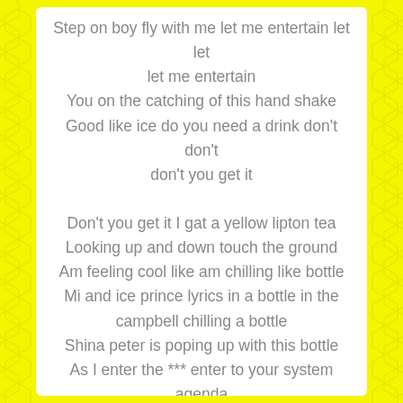Step on boy fly with me let me entertain let let let me entertain You on the catching of this hand shake Good like ice do you need a drink don't don't don't you get it Don't you get it I gat a yellow lipton tea Looking up and down touch the ground Am feeling cool like am chilling like bottle Mi and ice prince lyrics in a bottle in the campbell chilling a bottle Shina peter is poping up with this bottle As I enter the *** enter to your system agenda Give me one seconds at a time let me break it down for you